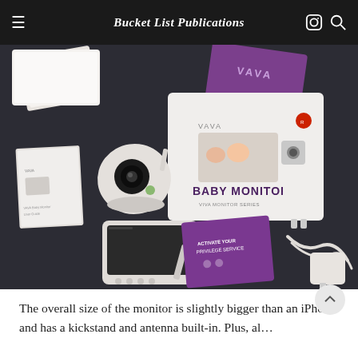Bucket List Publications
[Figure (photo): VAVA baby monitor product unboxing photo showing the camera unit, monitor/display unit, product box labeled 'BABY MONITOR', purple VAVA packaging, user guide booklets, power adapters, and cables spread out on a dark textured surface.]
The overall size of the monitor is slightly bigger than an iPhone and has a kickstand and antenna built-in. Plus, a...